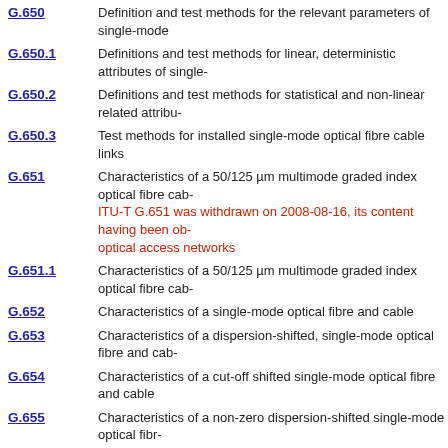G.650 – Definition and test methods for the relevant parameters of single-mode
G.650.1 – Definitions and test methods for linear, deterministic attributes of single-
G.650.2 – Definitions and test methods for statistical and non-linear related attribu-
G.650.3 – Test methods for installed single-mode optical fibre cable links
G.651 – Characteristics of a 50/125 µm multimode graded index optical fibre cab- ITU-T G.651 was withdrawn on 2008-08-16, its content having been ob- optical access networks
G.651.1 – Characteristics of a 50/125 µm multimode graded index optical fibre cab-
G.652 – Characteristics of a single-mode optical fibre and cable
G.653 – Characteristics of a dispersion-shifted, single-mode optical fibre and cab-
G.654 – Characteristics of a cut-off shifted single-mode optical fibre and cable
G.655 – Characteristics of a non-zero dispersion-shifted single-mode optical fibr-
G.656 – Characteristics of a fibre and cable with non-zero dispersion for wideba-
G.657 – Characteristics of a bending-loss insensitive single-mode optical fibre an-
G.661 – Definitions and test methods for the relevant generic parameters of optic-